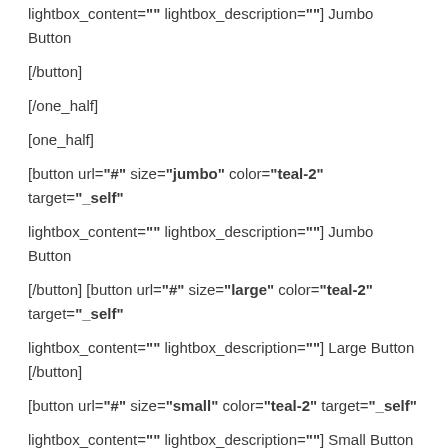lightbox_content="" lightbox_description=""] Jumbo Button [/button]
[/one_half]
[one_half]
[button url="#" size="jumbo" color="teal-2" target="_self" lightbox_content="" lightbox_description=""] Jumbo Button [/button] [button url="#" size="large" color="teal-2" target="_self" lightbox_content="" lightbox_description=""] Large Button [/button] [button url="#" size="small" color="teal-2" target="_self" lightbox_content="" lightbox_description=""] Small Button [/button]
[button url="#" size="jumbo" color="teal-grey" target="_self" lightbox_content="" lightbox_description=""] Jumbo Button [/button] [button url="#" size="large" color="teal-grey" target="_self" lightbox_content="" lightbox_description=""] Large Button [/button] [button url="#" size="small" color="teal-grey"